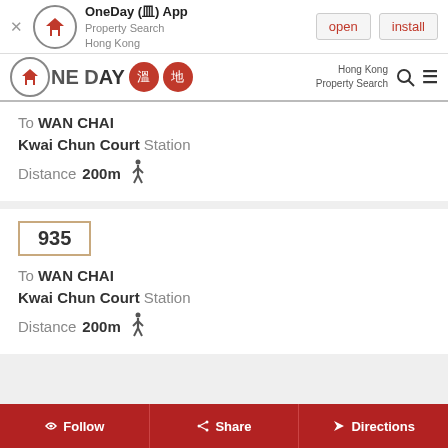[Figure (screenshot): OneDay app install banner with logo, app name 'OneDay (皿) App', 'Property Search Hong Kong', open and install buttons]
[Figure (screenshot): OneDay app navigation bar with logo, Chinese badge icons, Hong Kong Property Search text, search and menu icons]
To WAN CHAI
Kwai Chun Court Station
Distance 200m (walking icon)
935
To WAN CHAI
Kwai Chun Court Station
Distance 200m (walking icon)
Follow | Share | Directions